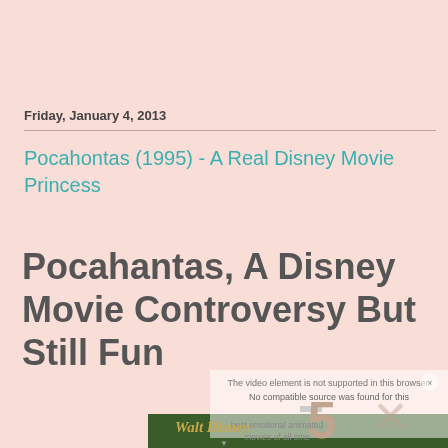Friday, January 4, 2013
Pocahontas (1995) - A Real Disney Movie Princess
Pocahantas, A Disney Movie Controversy But Still Fun
[Figure (screenshot): Partially visible video player overlay showing a Disney movie title card with green foliage background. Overlay shows 'No compatible source was found for this media' text, a large '5' number, and text 'best emotional animated movies of all time' with an X close button.]